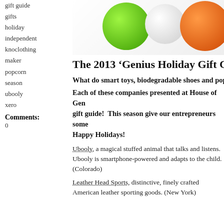gift guide
gifts
holiday
independent
knoclothing
maker
popcorn
season
ubooly
xero
Comments:
0
[Figure (photo): Colorful fuzzy stuffed animal balls in green, white, and orange against a white background]
The 2013 ‘Genius Holiday Gift Gu
What do smart toys, biodegradable shoes and popco
Each of these companies presented at House of Gen… gift guide!  This season give our entrepreneurs some… Happy Holidays!
Ubooly, a magical stuffed animal that talks and listens. Ubooly is smartphone-powered and adapts to the child. (Colorado)
Leather Head Sports, distinctive, finely crafted American leather sporting goods. (New York)